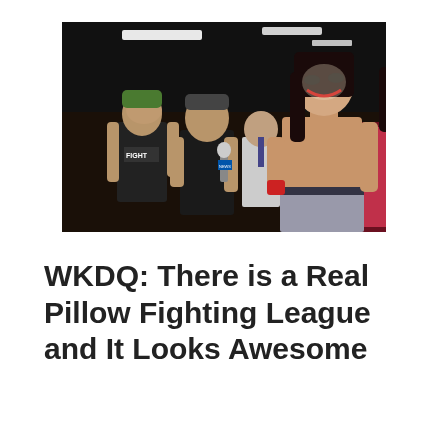[Figure (photo): MMA-style event photo showing two fighters facing each other with a man holding a microphone between them. Left fighter wears a black tank top with green hair highlights and covers his face. Right fighter is shirtless with Joker-style face paint and long dark hair. A bald man in a suit stands in background. Arena lighting visible overhead.]
WKDQ: There is a Real Pillow Fighting League and It Looks Awesome